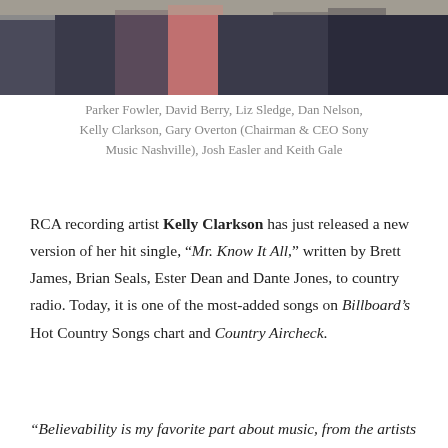[Figure (photo): Group photo of people standing together, partially cropped at the top of the page]
Parker Fowler, David Berry, Liz Sledge, Dan Nelson, Kelly Clarkson, Gary Overton (Chairman & CEO Sony Music Nashville), Josh Easler and Keith Gale
RCA recording artist Kelly Clarkson has just released a new version of her hit single, “Mr. Know It All,” written by Brett James, Brian Seals, Ester Dean and Dante Jones, to country radio. Today, it is one of the most-added songs on Billboard’s Hot Country Songs chart and Country Aircheck.
“Believability is my favorite part about music, from the artists